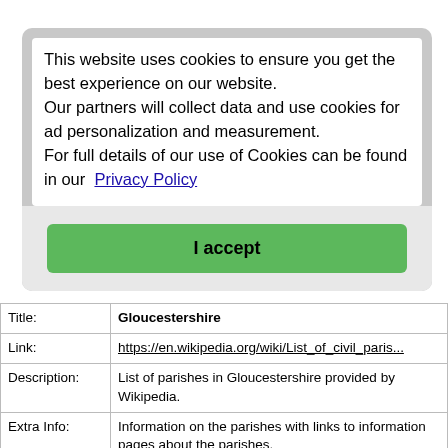[Figure (screenshot): Cookie consent modal overlay with text about cookies and an 'I accept' green button]
| Title: | Gloucestershire |
| Link: | https://en.wikipedia.org/wiki/List_of_civil_paris... |
| Description: | List of parishes in Gloucestershire provided by Wikipedia. |
| Extra Info: | Information on the parishes with links to information pages about the parishes. |
| Classification: | Maps, Information, Other |
| Title: | Wikipedia list of places in Gloucestershire |
| Link: | https://en.wikipedia.org/wiki/List_of_places_in... |
|  | List of places in Gloucestershire provided by... |